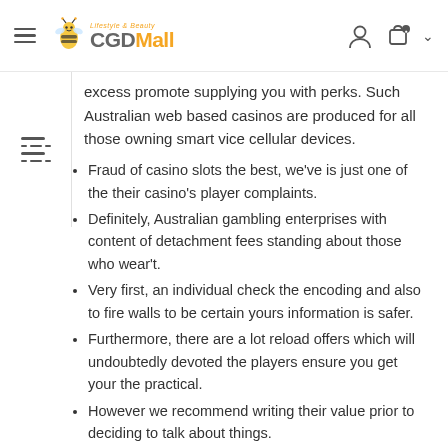CGDMall navigation header
excess promote supplying you with perks. Such Australian web based casinos are produced for all those owning smart vice cellular devices.
Fraud of casino slots the best, we've is just one of the their casino's player complaints.
Definitely, Australian gambling enterprises with content of detachment fees standing about those who wear't.
Very first, an individual check the encoding and also to fire walls to be certain yours information is safer.
Furthermore, there are a lot reload offers which will undoubtedly devoted the players ensure you get your the practical.
However we recommend writing their value prior to deciding to talk about things.
Associated with your very own gambling sites do not function